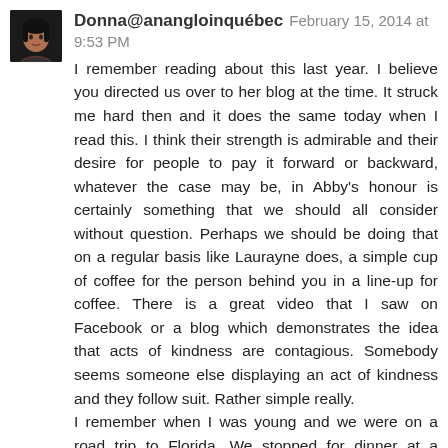[Figure (photo): Profile photo of a woman with dark hair against a dark background]
Donna@anangloinquébec February 15, 2014 at 9:53 PM
I remember reading about this last year. I believe you directed us over to her blog at the time. It struck me hard then and it does the same today when I read this. I think their strength is admirable and their desire for people to pay it forward or backward, whatever the case may be, in Abby's honour is certainly something that we should all consider without question. Perhaps we should be doing that on a regular basis like Laurayne does, a simple cup of coffee for the person behind you in a line-up for coffee. There is a great video that I saw on Facebook or a blog which demonstrates the idea that acts of kindness are contagious. Somebody seems someone else displaying an act of kindness and they follow suit. Rather simple really.
I remember when I was young and we were on a road trip to Florida. We stopped for dinner at a restaurant and there was a man sitting on the side of a curb looking like he was hungry and possibly without a home. When we sat down in the restaurant my dad took the menu out to the man and asked him what he would like to eat. He came back in and ordered an extra meal for the man. I watched my dad do this as a child, having always think about it, but to do it...